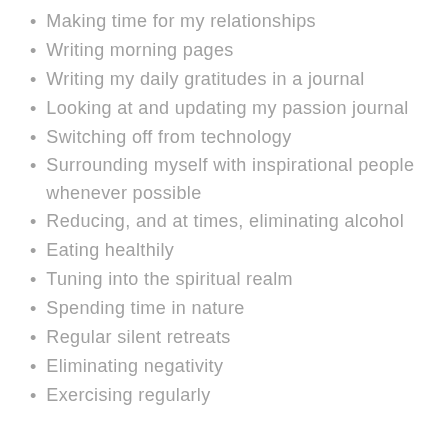Making time for my relationships
Writing morning pages
Writing my daily gratitudes in a journal
Looking at and updating my passion journal
Switching off from technology
Surrounding myself with inspirational people whenever possible
Reducing, and at times, eliminating alcohol
Eating healthily
Tuning into the spiritual realm
Spending time in nature
Regular silent retreats
Eliminating negativity
Exercising regularly